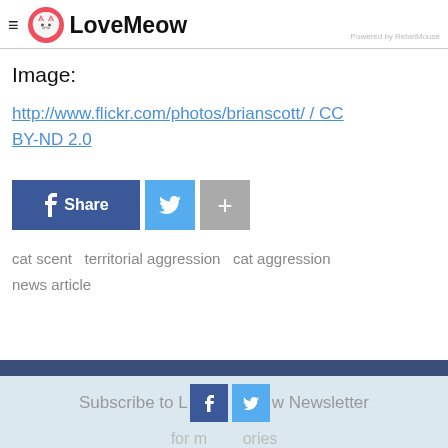LoveMeow — Powered by RebelMouse
Image:
http://www.flickr.com/photos/brianscott/ / CC BY-ND 2.0
[Figure (other): Social share buttons: Facebook Share, Twitter, and a plus button]
cat scent   territorial aggression   cat aggression   news article
Subscribe to LoveMeow Newsletter for more stories